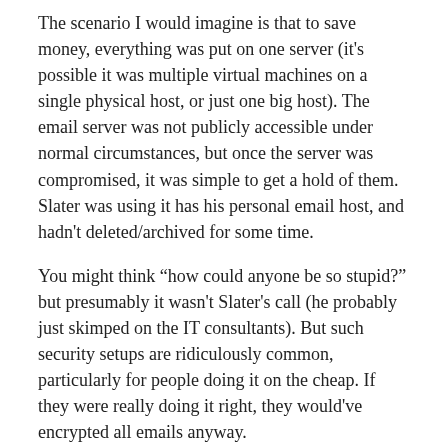The scenario I would imagine is that to save money, everything was put on one server (it's possible it was multiple virtual machines on a single physical host, or just one big host). The email server was not publicly accessible under normal circumstances, but once the server was compromised, it was simple to get a hold of them. Slater was using it has his personal email host, and hadn't deleted/archived for some time.
You might think “how could anyone be so stupid?” but presumably it wasn't Slater's call (he probably just skimped on the IT consultants). But such security setups are ridiculously common, particularly for people doing it on the cheap. If they were really doing it right, they would've encrypted all emails anyway.
The worrying thing is, what happens when these sort of people wise up and use some pretty trivial measures, like properly secured servers and encrypted emails. This sort of leak just won't be possible, so we'll only have suspicions to go on.